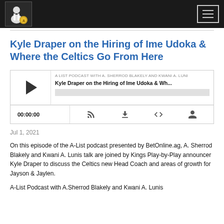A-List Podcast navigation bar with logo and hamburger menu
Kyle Draper on the Hiring of Ime Udoka & Where the Celtics Go From Here
[Figure (screenshot): Podcast player widget showing episode 'Kyle Draper on the Hiring of Ime Udoka & Wh...' from A LIST PODCAST WITH A. SHERROD BLAKELY AND KWANI A. LUNI, with play button, progress bar, time 00:00:00, and control icons (RSS, download, embed, share)]
Jul 1, 2021
On this episode of the A-List podcast presented by BetOnline.ag, A. Sherrod Blakely and Kwani A. Lunis talk are joined by Kings Play-by-Play announcer Kyle Draper to discuss the Celtics new Head Coach and areas of growth for Jayson & Jaylen.
A-List Podcast with A.Sherrod Blakely and Kwani A. Lunis